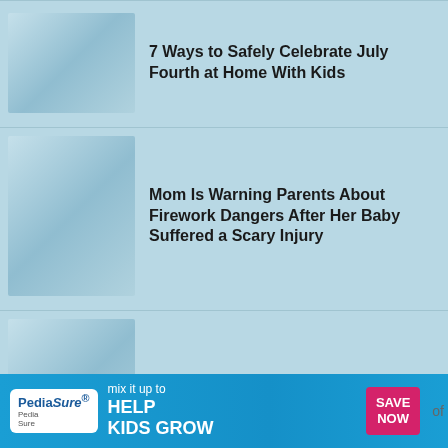[Figure (photo): Thumbnail image placeholder with light blue gradient]
7 Ways to Safely Celebrate July Fourth at Home With Kids
[Figure (photo): Thumbnail image placeholder with light blue gradient]
Mom Is Warning Parents About Firework Dangers After Her Baby Suffered a Scary Injury
[Figure (photo): Thumbnail image placeholder with light blue gradient]
July 4th Patriotic Pops
[Figure (photo): Partial thumbnail image placeholder with light blue gradient]
[Figure (photo): PediaSure advertisement banner: mix it up to HELP KIDS GROW, SAVE NOW]